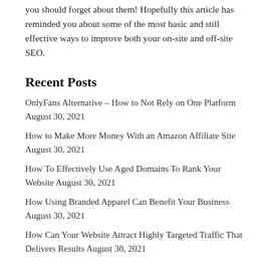you should forget about them! Hopefully this article has reminded you about some of the most basic and still effective ways to improve both your on-site and off-site SEO.
Recent Posts
OnlyFans Alternative – How to Not Rely on One Platform August 30, 2021
How to Make More Money With an Amazon Affiliate Site August 30, 2021
How To Effectively Use Aged Domains To Rank Your Website August 30, 2021
How Using Branded Apparel Can Benefit Your Business August 30, 2021
How Can Your Website Attract Highly Targeted Traffic That Delivers Results August 30, 2021